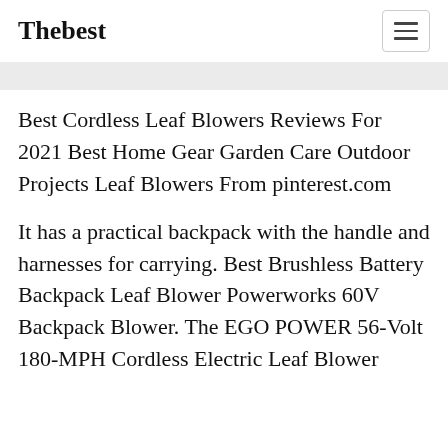Thebest
Best Cordless Leaf Blowers Reviews For 2021 Best Home Gear Garden Care Outdoor Projects Leaf Blowers From pinterest.com
It has a practical backpack with the handle and harnesses for carrying. Best Brushless Battery Backpack Leaf Blower Powerworks 60V Backpack Blower. The EGO POWER 56-Volt 180-MPH Cordless Electric Leaf Blower